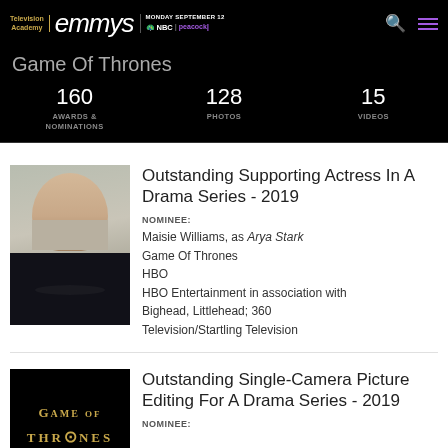Television Academy | emmys | MONDAY SEPTEMBER 12 | NBC | peacock
Game Of Thrones
160 AWARDS & NOMINATIONS   128 PHOTOS   15 VIDEOS
Outstanding Supporting Actress In A Drama Series - 2019
NOMINEE:
Maisie Williams, as Arya Stark
Game Of Thrones
HBO
HBO Entertainment in association with Bighead, Littlehead; 360 Television/Startling Television
Outstanding Single-Camera Picture Editing For A Drama Series - 2019
NOMINEE: